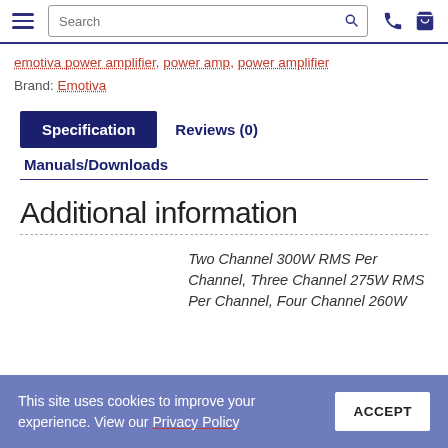Search [navbar with hamburger, search box, phone and cart icons]
emotiva power amplifier, power amp, power amplifier
Brand: Emotiva
Specification | Reviews (0) | Manuals/Downloads
Additional information
Two Channel 300W RMS Per Channel, Three Channel 275W RMS Per Channel, Four Channel 260W
This site uses cookies to improve your experience. View our Privacy Policy  ACCEPT